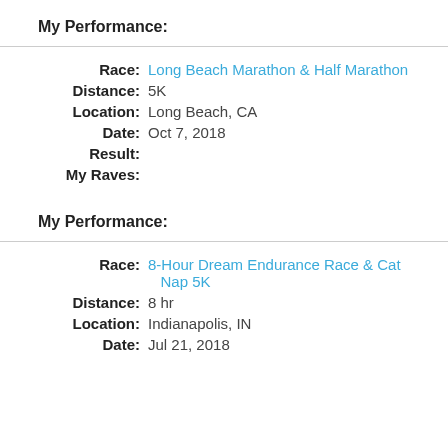My Performance:
Race: Long Beach Marathon & Half Marathon
Distance: 5K
Location: Long Beach, CA
Date: Oct 7, 2018
Result:
My Raves:
My Performance:
Race: 8-Hour Dream Endurance Race & Cat Nap 5K
Distance: 8 hr
Location: Indianapolis, IN
Date: Jul 21, 2018